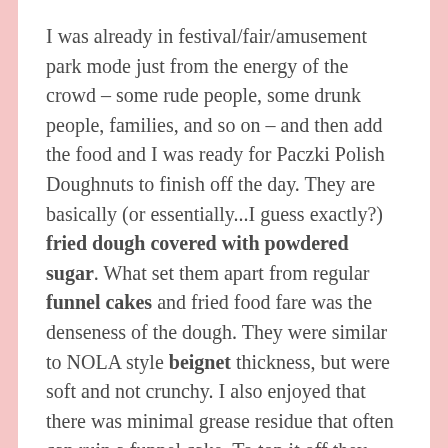I was already in festival/fair/amusement park mode just from the energy of the crowd – some rude people, some drunk people, families, and so on – and then add the food and I was ready for Paczki Polish Doughnuts to finish off the day. They are basically (or essentially...I guess exactly?) fried dough covered with powdered sugar. What set them apart from regular funnel cakes and fried food fare was the denseness of the dough. They were similar to NOLA style beignet thickness, but were soft and not crunchy. I also enjoyed that there was minimal grease residue that often can ruin a funnel cake. To top it off they were served hot, which enhances many donuts and I believe is the case here as well. Overall these donuts were sweet, doughy, fried to perfection, and a good once a year treat. Try them yourself at the festival